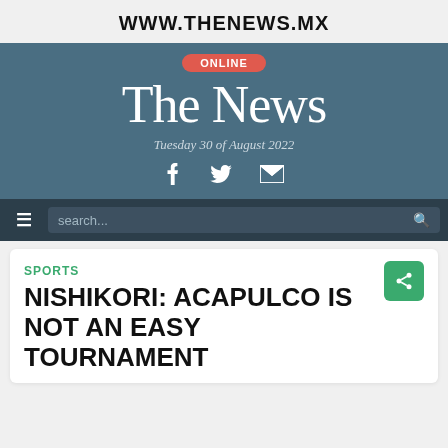WWW.THENEWS.MX
[Figure (logo): The News newspaper masthead with ONLINE badge, site title 'The News', date 'Tuesday 30 of August 2022', and social media icons for Facebook, Twitter, and email]
search...
SPORTS
NISHIKORI: ACAPULCO IS NOT AN EASY TOURNAMENT